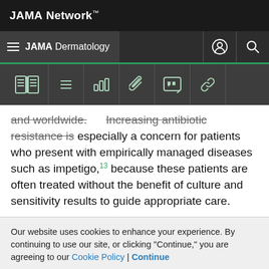JAMA Network
JAMA Dermatology
[Figure (screenshot): JAMA Dermatology website toolbar with icons: book, list, chart, paperclip, quote, link]
and worldwide. Increasing antibiotic resistance is especially a concern for patients who present with empirically managed diseases such as impetigo,13 because these patients are often treated without the benefit of culture and sensitivity results to guide appropriate care.
Ozenoxacin is a novel topical antibiotic that has demonstrated potent bactericidal activity against pathologically relevant gram-positive strains, particularly
Our website uses cookies to enhance your experience. By continuing to use our site, or clicking "Continue," you are agreeing to our Cookie Policy | Continue